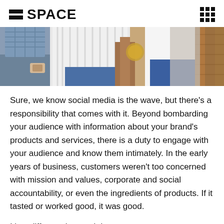SPACE
[Figure (photo): Cropped photo showing the torsos/waists of several people standing together, wearing casual clothing in an outdoor setting.]
Sure, we know social media is the wave, but there's a responsibility that comes with it. Beyond bombarding your audience with information about your brand's products and services, there is a duty to engage with your audience and know them intimately. In the early years of business, customers weren't too concerned with mission and values, corporate and social accountability, or even the ingredients of products. If it tasted or worked good, it was good.
It's a different time and day.
Consumers want to know as much as they can before